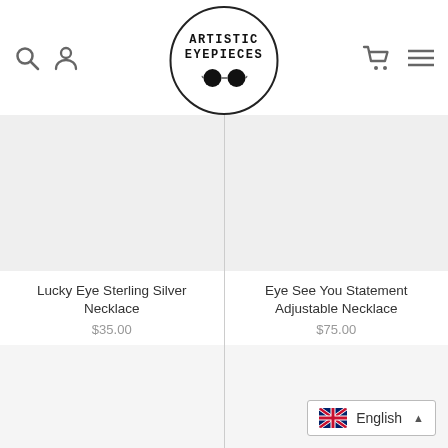Artistic Eyepieces - navigation header with search, user, cart, menu icons and logo
[Figure (logo): Artistic Eyepieces circular logo with two round eyeglass lenses and text 'ARTISTIC EYEPIECES']
Lucky Eye Sterling Silver Necklace
$35.00
Eye See You Statement Adjustable Necklace
$75.00
English